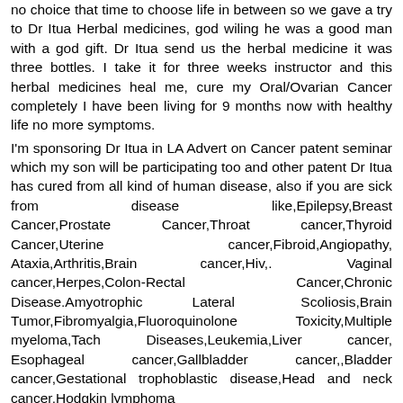no choice that time to choose life in between so we gave a try to Dr Itua Herbal medicines, god wiling he was a good man with a god gift. Dr Itua send us the herbal medicine it was three bottles. I take it for three weeks instructor and this herbal medicines heal me, cure my Oral/Ovarian Cancer completely I have been living for 9 months now with healthy life no more symptoms. I'm sponsoring Dr Itua in LA Advert on Cancer patent seminar which my son will be participating too and other patent Dr Itua has cured from all kind of human disease, also if you are sick from disease like,Epilepsy,Breast Cancer,Prostate Cancer,Throat cancer,Thyroid Cancer,Uterine cancer,Fibroid,Angiopathy, Ataxia,Arthritis,Brain cancer,Hiv,. Vaginal cancer,Herpes,Colon-Rectal Cancer,Chronic Disease.Amyotrophic Lateral Scoliosis,Brain Tumor,Fibromyalgia,Fluoroquinolone Toxicity,Multiple myeloma,Tach Diseases,Leukemia,Liver cancer, Esophageal cancer,Gallbladder cancer,,Bladder cancer,Gestational trophoblastic disease,Head and neck cancer,Hodgkin lymphoma Intestinal cancer,Kidney cancer,Hpv,Lung cancer,Adrenal cancer,Bile duct cancer,Bone